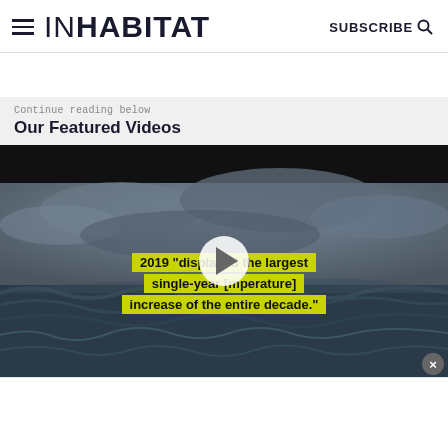INHABITAT  SUBSCRIBE
Continue reading below
Our Featured Videos
[Figure (screenshot): Video player showing rough ocean waves under stormy grey sky. Text overlaid in yellow-green highlight boxes reads: '2019 "displayed the largest single-year [temperature] increase of the entire decade."' A white play button is centered on the video.]